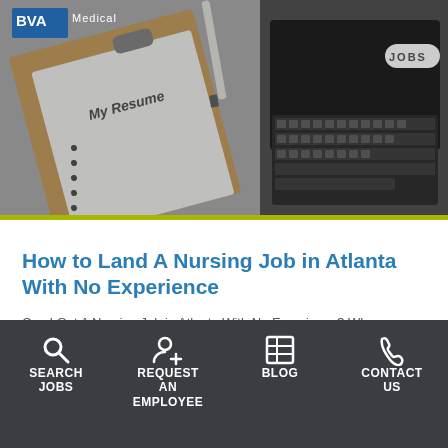[Figure (photo): Hero image showing a clipboard with 'My Resume' paper and a laptop keyboard in the background, representing job applications. BVA Medical logo in top left, JOBS badge top right.]
How to Land A Nursing Job in Atlanta With No Experience
Can I Get A Nursing Job in Atlanta With No Experience? When looking for your first nursing job in Atlanta, it can be a challenging endeavor.
SEARCH JOBS | REQUEST AN EMPLOYEE | BLOG | CONTACT US